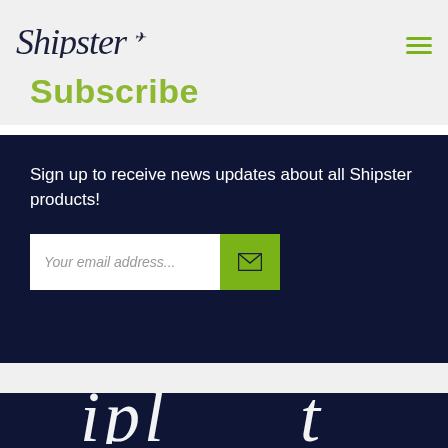Shipster
Subscribe
Sign up to receive news updates about all Shipster products!
[Figure (other): Email subscription form with white input field showing placeholder 'Your email address...' and a green submit button with envelope icon]
[Figure (other): Large white cursive/script text partially visible at the bottom of the page on dark navy background, appears to be the Shipster logo text]